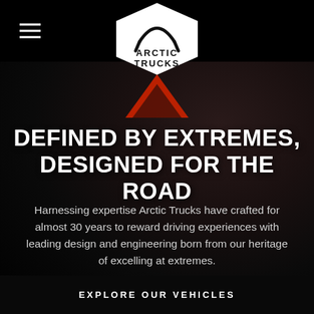[Figure (logo): Arctic Trucks logo — white pentagon/shield shape with 'ARCTIC TRUCKS' text in black inside]
[Figure (logo): Red Arctic Trucks AT triangle/mountain logo mark]
DEFINED BY EXTREMES, DESIGNED FOR THE ROAD
Harnessing expertise Arctic Trucks have crafted for almost 30 years to reward driving experiences with leading design and engineering born from our heritage of excelling at extremes.
EXPLORE OUR VEHICLES